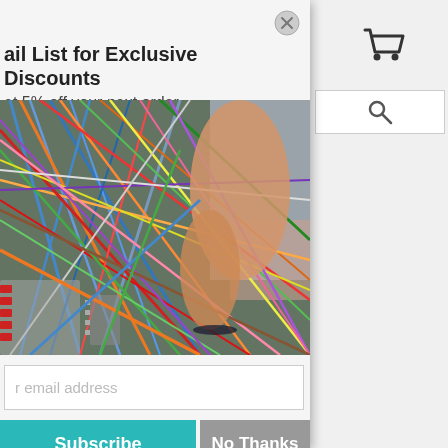ail List for Exclusive Discounts
et 5% off your next order
[Figure (photo): A hand reaching into a tangle of colorful wires and cables in a network/electrical panel]
r email address
Subscribe
No Thanks